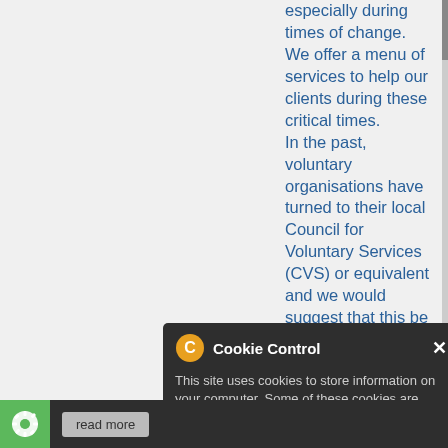especially during times of change. We offer a menu of services to help our clients during these critical times.
In the past, voluntary organisations have turned to their local Council for Voluntary Services (CVS) or equivalent and we would suggest that this be the first port of call for most organisations seeking help. But because of the current economic climate it is increasingly likely that many areas are or have a CVS with reduces resources. Therefore we wish to be services offered by a alternative where a CVS cannot
services that we offer, for example, grant funding applications or mentoring a key person in a group or organisation such as a Chair, Chief Officer or Manager. Contact us for a FREE
Cookie Control
This site uses cookies to store information on your computer. Some of these cookies are essential to make our site work and others help us to improve by giving us some insight into how the site is being used.
About this tool
read more